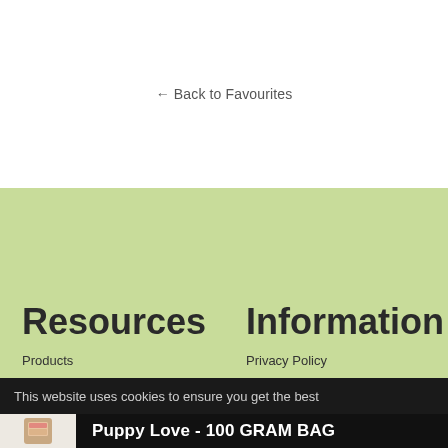← Back to Favourites
Resources
Information
Products
Privacy Policy
This website uses cookies to ensure you get the best
[Figure (photo): Product image of Puppy Love 100 gram bag, a small standing pouch with pink and kraft label]
Puppy Love - 100 GRAM BAG